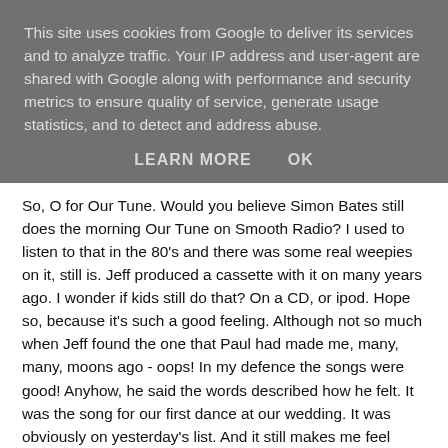This site uses cookies from Google to deliver its services and to analyze traffic. Your IP address and user-agent are shared with Google along with performance and security metrics to ensure quality of service, generate usage statistics, and to detect and address abuse.
LEARN MORE    OK
So, O for Our Tune. Would you believe Simon Bates still does the morning Our Tune on Smooth Radio? I used to listen to that in the 80's and there was some real weepies on it, still is. Jeff produced a cassette with it on many years ago. I wonder if kids still do that? On a CD, or ipod. Hope so, because it's such a good feeling. Although not so much when Jeff found the one that Paul had made me, many, many, moons ago - oops! In my defence the songs were good! Anyhow, he said the words described how he felt. It was the song for our first dance at our wedding. It was obviously on yesterday's list. And it still makes me feel warm inside every time I hear it. I did think about just linking to a recording of the song but the lyrics are just as important. So here is the lyrics ......